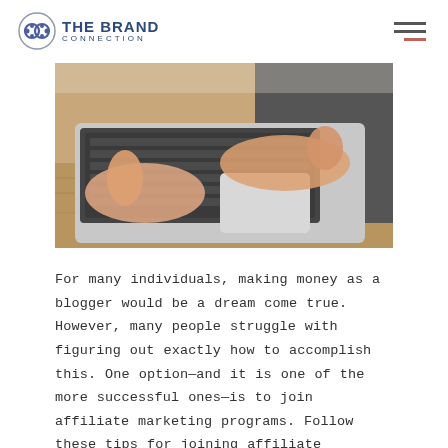THE BRAND CONNECTION
[Figure (photo): Close-up photo of a person's hands typing on a MacBook laptop on a wooden desk, wearing a dark grey shirt.]
For many individuals, making money as a blogger would be a dream come true. However, many people struggle with figuring out exactly how to accomplish this. One option—and it is one of the more successful ones—is to join affiliate marketing programs. Follow these tips for joining affiliate programs to get started.